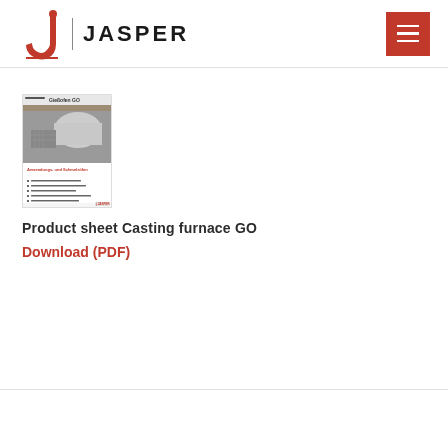JASPER
[Figure (screenshot): Thumbnail image of Jasper product sheet for Casting furnace GO, showing a large industrial furnace in a factory setting with German text overlay.]
Product sheet Casting furnace GO
Download (PDF)